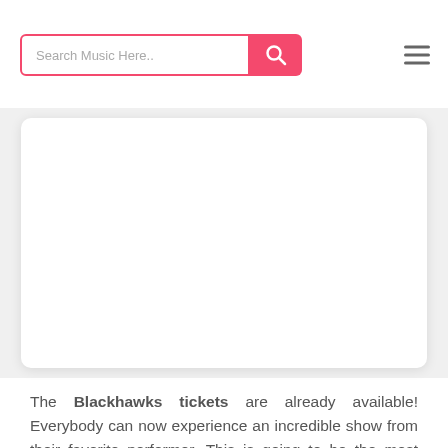Search Music Here..
[Figure (other): White card/image placeholder with rounded corners and drop shadow on a light gray background]
The Blackhawks tickets are already available! Everybody can now experience an incredible show from their favorite performer. This is going to be the most interesting tour of the year by far, and this is the best